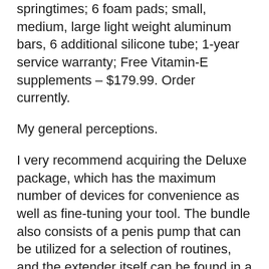springtimes; 6 foam pads; small, medium, large light weight aluminum bars, 6 additional silicone tube; 1-year service warranty; Free Vitamin-E supplements – $179.99. Order currently.
My general perceptions.
I very recommend acquiring the Deluxe package, which has the maximum number of devices for convenience as well as fine-tuning your tool. The bundle also consists of a penis pump that can be utilized for a selection of routines, and the extender itself can be found in a wooden box.
My results with Quick Extender Pro.